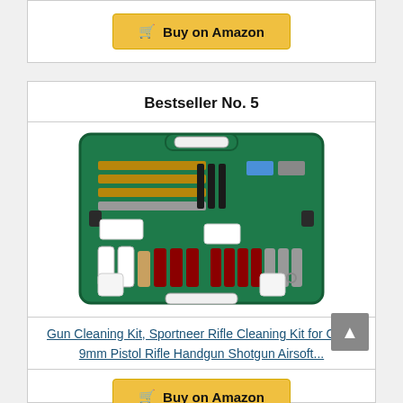[Figure (screenshot): Buy on Amazon button (top card, partial)]
Bestseller No. 5
[Figure (photo): Green gun cleaning kit case open showing various brushes, rods, and cleaning tools arranged inside]
Gun Cleaning Kit, Sportneer Rifle Cleaning Kit for Guns 9mm Pistol Rifle Handgun Shotgun Airsoft...
[Figure (screenshot): Buy on Amazon button (bottom, partially visible)]